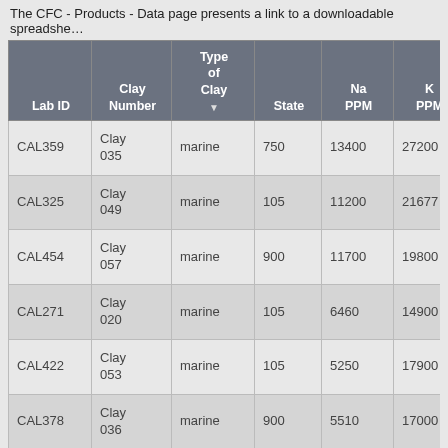The CFC - Products - Data page presents a link to a downloadable spreadshe...
| Lab ID | Clay Number | Type of Clay | State | Na PPM | K PPM | Ca PPM | Sc PPM |
| --- | --- | --- | --- | --- | --- | --- | --- |
| CAL359 | Clay 035 | marine | 750 | 13400 | 27200 | 245000 | 9.35 |
| CAL325 | Clay 049 | marine | 105 | 11200 | 21677 | 16100 | 16.30 |
| CAL454 | Clay 057 | marine | 900 | 11700 | 19800 | 91000 | 12.80 |
| CAL271 | Clay 020 | marine | 105 | 6460 | 14900 | 11000 | 18.70 |
| CAL422 | Clay 053 | marine | 105 | 5250 | 17900 | 127000 | 12.20 |
| CAL378 | Clay 036 | marine | 900 | 5510 | 17000 | 176000 | 12.60 |
| CAL474 | Clay 077 | marine | 900 | 5680 | 22200 | 129000 | 15.80 |
| CAL4?? | Clay ... |  | ... | ... | ... | ... | ... |